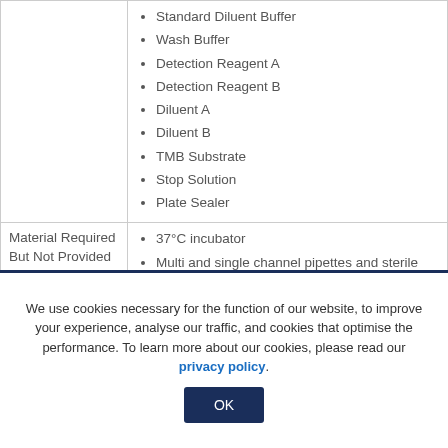|  |  |
| --- | --- |
|  | Standard Diluent Buffer, Wash Buffer, Detection Reagent A, Detection Reagent B, Diluent A, Diluent B, TMB Substrate, Stop Solution, Plate Sealer |
| Material Required But Not Provided | 37°C incubator, Multi and single channel pipettes and sterile pipette tips, Squirt bottle or automated microplate washer |
We use cookies necessary for the function of our website, to improve your experience, analyse our traffic, and cookies that optimise the performance. To learn more about our cookies, please read our privacy policy.